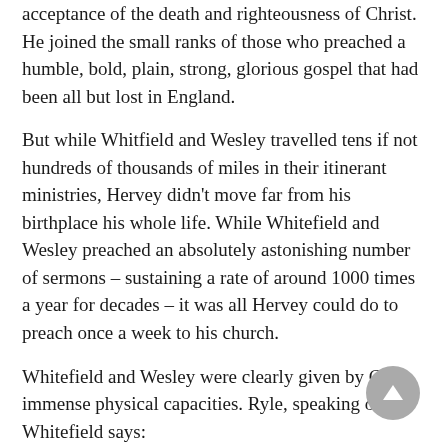acceptance of the death and righteousness of Christ. He joined the small ranks of those who preached a humble, bold, plain, strong, glorious gospel that had been all but lost in England.
But while Whitfield and Wesley travelled tens if not hundreds of thousands of miles in their itinerant ministries, Hervey didn’t move far from his birthplace his whole life. While Whitefield and Wesley preached an absolutely astonishing number of sermons – sustaining a rate of around 1000 times a year for decades – it was all Hervey could do to preach once a week to his church.
Whitefield and Wesley were clearly given by God immense physical capacities. Ryle, speaking of Whitefield says:
“One cannot but stand amazed that his mortal frame could, for the space of near thirty years, without interruption, sustain the weight of...long-continued,